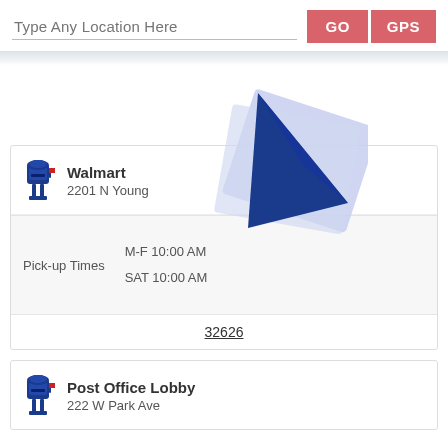Type Any Location Here
GO
GPS
[Figure (screenshot): Map cursor/pin overlay showing a dark blue triangle pointer with a light purple/blue envelope-shaped background card, indicating a map location marker]
Walmart
2201 N Young
Pick-up Times
M-F 10:00 AM
SAT 10:00 AM
32626
Post Office Lobby
222 W Park Ave